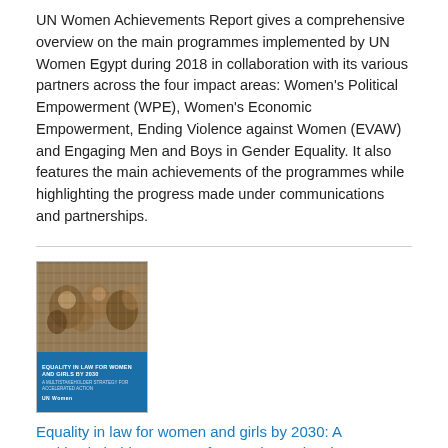UN Women Achievements Report gives a comprehensive overview on the main programmes implemented by UN Women Egypt during 2018 in collaboration with its various partners across the four impact areas: Women's Political Empowerment (WPE), Women's Economic Empowerment, Ending Violence against Women (EVAW) and Engaging Men and Boys in Gender Equality. It also features the main achievements of the programmes while highlighting the progress made under communications and partnerships.
[Figure (photo): Book cover of 'Equality in law for women and girls by 2030: A multistakeholder strategy for accelerated action' publication, showing a crowd photo on top and blue bottom section with title text and UN Women logo.]
Equality in law for women and girls by 2030: A multistakeholder strategy for accelerated action
Date: Tuesday, 19 March 2019
Globally, more than 2.5 billion women and girls are affected by discriminatory laws and the lack of legal protections. This policy strategy seeks to fast track the repeal of discriminatory laws in 100 countries between 2019 and 2023, focusing on six thematic areas,